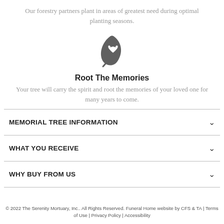Our forestry partners plant in areas of greatest need during optimal planting seasons.
[Figure (illustration): A dark gray leaf icon with a heart cutout in the center]
Root The Memories
Your tree will carry the spirit and root the memories of your loved one for many years to come.
MEMORIAL TREE INFORMATION
WHAT YOU RECEIVE
WHY BUY FROM US
© 2022 The Serenity Mortuary, Inc.. All Rights Reserved. Funeral Home website by CFS & TA | Terms of Use | Privacy Policy | Accessibility